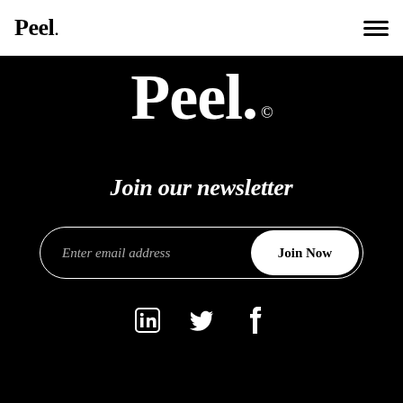Peel
[Figure (logo): Large white Peel logo with copyright symbol on black background]
Join our newsletter
[Figure (other): Email signup form with 'Enter email address' placeholder and 'Join Now' button]
[Figure (other): Social media icons: LinkedIn, Twitter, Facebook]